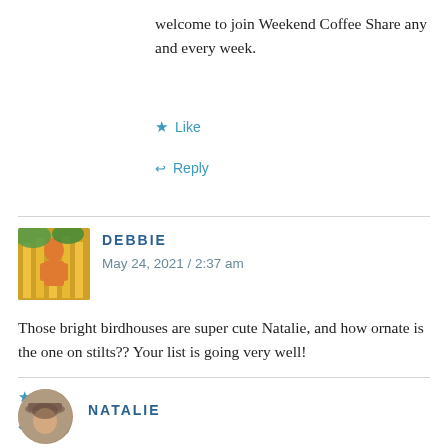welcome to join Weekend Coffee Share any and every week.
Like
Reply
DEBBIE
May 24, 2021 / 2:37 am
Those bright birdhouses are super cute Natalie, and how ornate is the one on stilts?? Your list is going very well!
Like
Reply
NATALIE